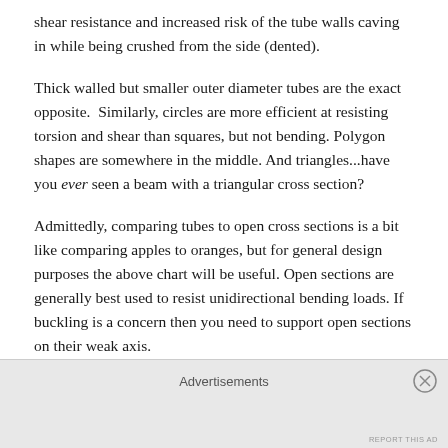shear resistance and increased risk of the tube walls caving in while being crushed from the side (dented).
Thick walled but smaller outer diameter tubes are the exact opposite.  Similarly, circles are more efficient at resisting torsion and shear than squares, but not bending. Polygon shapes are somewhere in the middle. And triangles...have you ever seen a beam with a triangular cross section?
Admittedly, comparing tubes to open cross sections is a bit like comparing apples to oranges, but for general design purposes the above chart will be useful. Open sections are generally best used to resist unidirectional bending loads. If buckling is a concern then you need to support open sections on their weak axis.
Advertisements